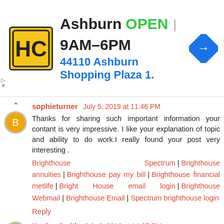[Figure (other): Advertisement banner for HC auto shop in Ashburn showing logo, OPEN status, hours 9AM-6PM, address 44110 Ashburn Shopping Plaza 1., and navigation arrow icon]
sophieturner July 5, 2019 at 11:46 PM
Thanks for sharing such important information your contant is very impressive. I like your explanation of topic and ability to do work.I really found your post very interesting .
Brighthouse Spectrum | Brighthouse annuities | Brighthouse pay my bill | Brighthouse financial metlife | Bright House email login | Brighthouse Webmail | Brighthouse Email | Spectrum brighthouse login
Reply
Kaylee Smith July 8, 2019 at 11:37 PM
Create an account and get MS Office setup on your computer. If the subscription has expired, learn how to renew it. Get the complete guide to download, install and activate MS office setup.